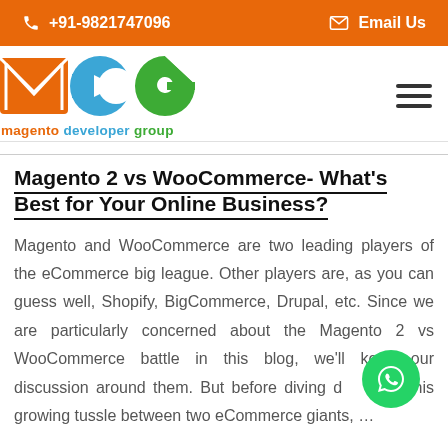+91-9821747096   Email Us
[Figure (logo): Magento Developer Group logo with orange envelope icon, blue arrow icon, green pac-man icon, and text 'magento developer group']
Magento 2 vs WooCommerce- What's Best for Your Online Business?
Magento and WooCommerce are two leading players of the eCommerce big league. Other players are, as you can guess well, Shopify, BigCommerce, Drupal, etc. Since we are particularly concerned about the Magento 2 vs WooCommerce battle in this blog, we'll keep our discussion around them. But before diving deep into this growing tussle between two eCommerce giants, ...